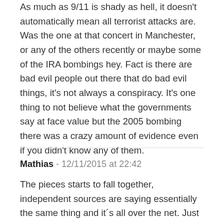As much as 9/11 is shady as hell, it doesn't automatically mean all terrorist attacks are. Was the one at that concert in Manchester, or any of the others recently or maybe some of the IRA bombings hey. Fact is there are bad evil people out there that do bad evil things, it's not always a conspiracy. It's one thing to not believe what the governments say at face value but the 2005 bombing there was a crazy amount of evidence even if you didn't know any of them.
Mathias - 12/11/2015 at 22:42
The pieces starts to fall together, independent sources are saying essentially the same thing and it´s all over the net. Just one example is Susan Lindauer former CIA asset mention how she and her supervisors had prior knowledge (6 months before 9/11) of a planned attack of the twin towers or NYC, small nuclear bombs